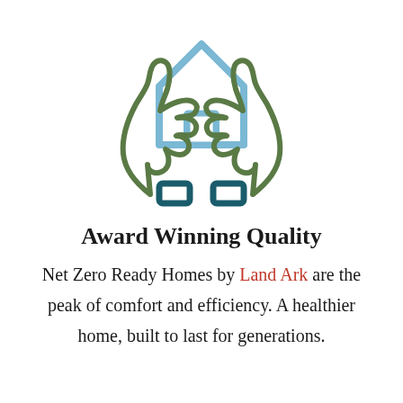[Figure (illustration): Icon of two cupped hands holding a house symbol. The hands are drawn in olive/dark green outline style; the house is light blue outline with a door cutout. The wrists area transitions to dark teal color.]
Award Winning Quality
Net Zero Ready Homes by Land Ark are the peak of comfort and efficiency. A healthier home, built to last for generations.